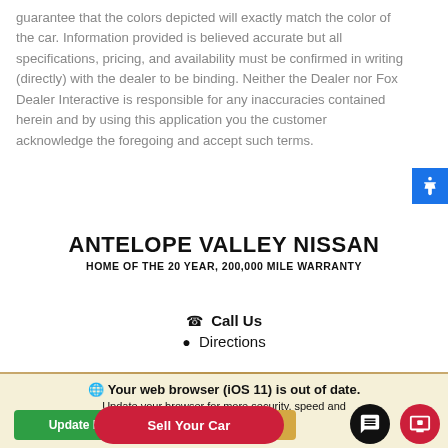guarantee that the colors depicted will exactly match the color of the car. Information provided is believed accurate but all specifications, pricing, and availability must be confirmed in writing (directly) with the dealer to be binding. Neither the Dealer nor Fox Dealer Interactive is responsible for any inaccuracies contained herein and by using this application you the customer acknowledge the foregoing and accept such terms.
ANTELOPE VALLEY NISSAN
HOME OF THE 20 YEAR, 200,000 MILE WARRANTY
Call Us
Directions
Your web browser (iOS 11) is out of date. Update your browser for more security, speed and the best ex... si...
[Figure (screenshot): Browser update banner with green Update browser button, gold Ignore button, red Sell Your Car pill button, black chat circle button, and red screen share circle button]